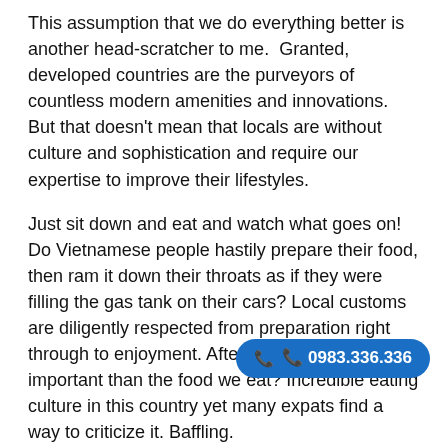This assumption that we do everything better is another head-scratcher to me. Granted, developed countries are the purveyors of countless modern amenities and innovations. But that doesn't mean that locals are without culture and sophistication and require our expertise to improve their lifestyles.
Just sit down and eat and watch what goes on! Do Vietnamese people hastily prepare their food, then ram it down their throats as if they were filling the gas tank on their cars? Local customs are diligently respected from preparation right through to enjoyment. After all, what's more important than the food we eat? Incredible eating culture in this country yet many expats find a way to criticize it. Baffling.
So, much of the expat experience comes down to learning rather than teaching, absorbing and understanding what is done and why. Those who come to teach and cultivate face a long uphill battle that never ends.
Me? I'm busy rolling with the locals, learning, absorbing, respecting their ways. I'm here to learn - if not why come here?
And I keep as far away from those 75% that are disgruntled with the